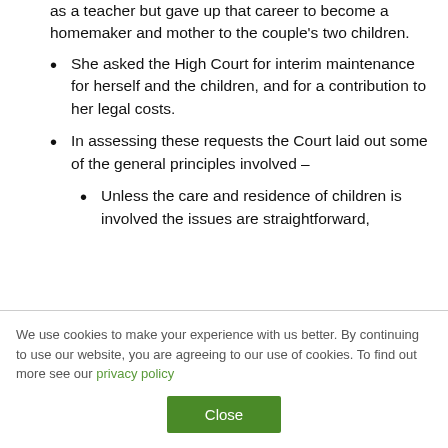as a teacher but gave up that career to become a homemaker and mother to the couple's two children.
She asked the High Court for interim maintenance for herself and the children, and for a contribution to her legal costs.
In assessing these requests the Court laid out some of the general principles involved –
Unless the care and residence of children is involved the issues are straightforward,
We use cookies to make your experience with us better. By continuing to use our website, you are agreeing to our use of cookies. To find out more see our privacy policy